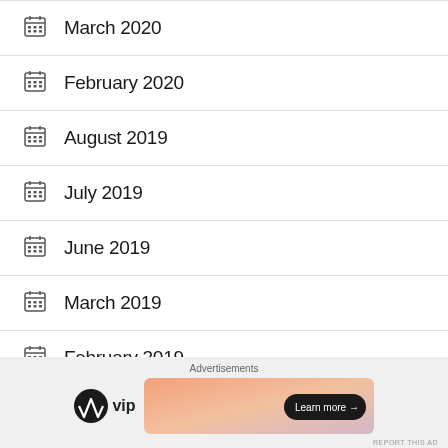March 2020
February 2020
August 2019
July 2019
June 2019
March 2019
February 2019
[Figure (other): Advertisement banner showing WordPress VIP logo and a gradient banner with a 'Learn more' button]